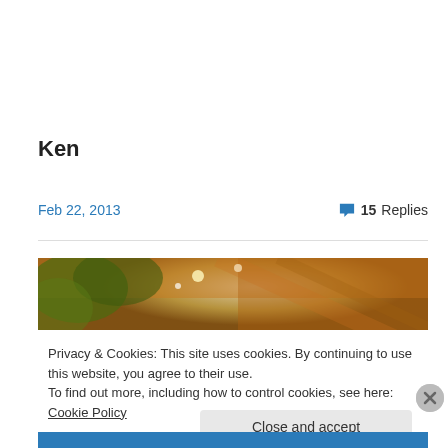Ken
Feb 22, 2013
15 Replies
[Figure (photo): Outdoor photo looking up through autumn foliage, warm orange/brown tones with light filtering through leaves and a bright sky]
Privacy & Cookies: This site uses cookies. By continuing to use this website, you agree to their use.
To find out more, including how to control cookies, see here: Cookie Policy
Close and accept